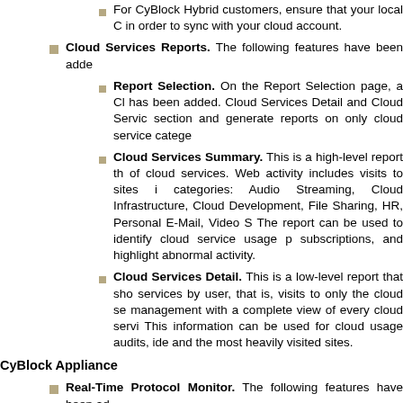For CyBlock Hybrid customers, ensure that your local C... in order to sync with your cloud account.
Cloud Services Reports. The following features have been added...
Report Selection. On the Report Selection page, a Cl... has been added. Cloud Services Detail and Cloud Servic... section and generate reports on only cloud service catege...
Cloud Services Summary. This is a high-level report th... of cloud services. Web activity includes visits to sites i... categories: Audio Streaming, Cloud Infrastructure, Cloud... Development, File Sharing, HR, Personal E-Mail, Video S... The report can be used to identify cloud service usage p... subscriptions, and highlight abnormal activity.
Cloud Services Detail. This is a low-level report that sho... services by user, that is, visits to only the cloud se... management with a complete view of every cloud servi... This information can be used for cloud usage audits, ide... and the most heavily visited sites.
CyBlock Appliance
Real-Time Protocol Monitor. The following features have been ad...
The Real-Time Protocol Monitor page has been update... similar user interface to the Real-Time Web Monitor.
The selections for the Controls field have be... Protocol Monitor and replaced by icons.
On the Real-Time Protocol Monitor, the controls and se...